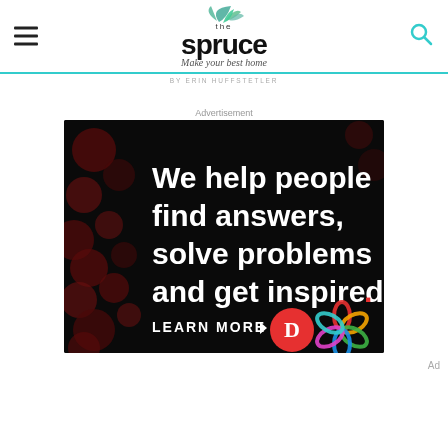the spruce — Make your best home
by ERIN HUFFSTETLER
Advertisement
[Figure (other): Advertisement banner with black background and dark red bokeh dots pattern. White bold text reads: 'We help people find answers, solve problems and get inspired.' with a red period. Below: 'LEARN MORE' with arrow. Dotdash logo (red circle with white D) and Meredith colorful knot logo on bottom right.]
Ad